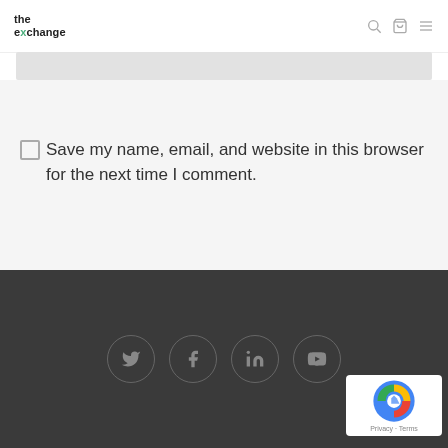the exchange
Save my name, email, and website in this browser for the next time I comment.
SUBMIT COMMENT
Social media icons: Twitter, Facebook, LinkedIn, YouTube. reCAPTCHA badge with Privacy - Terms.